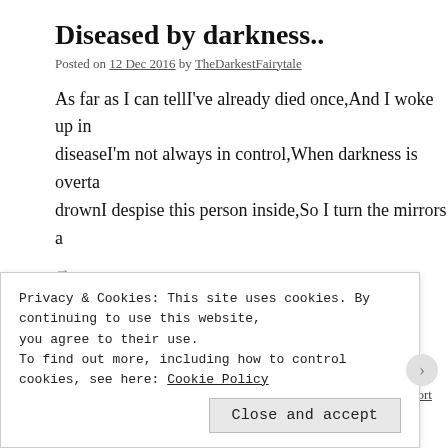Diseased by darkness..
Posted on 12 Dec 2016 by TheDarkestFairytale
As far as I can tellI've already died once,And I woke up in diseaseI'm not always in control,When darkness is overtaking meI drownI despise this person inside,So I turn the mirrors a
→
Posted in Creative, Poetry | Tagged abuse, Angels, Anger, Art, Bitch, creative, Depression, Ghosts, Haterd, Humanity, Life, Lost, Mental health, mythology, Poetry, Rage, Relationships, Religion, Schizoid, Secrets, Shadows, short po... Comments
Privacy & Cookies: This site uses cookies. By continuing to use this website, you agree to their use.
To find out more, including how to control cookies, see here: Cookie Policy
Close and accept